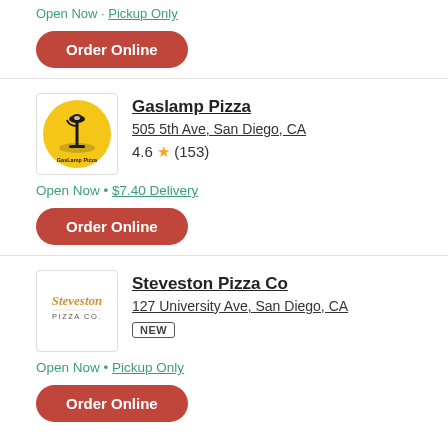Open Now · Pickup Only
Order Online
[Figure (logo): Gaslamp Pizza circular logo with yellow background and black lamp post silhouette]
Gaslamp Pizza
505 5th Ave, San Diego, CA
4.6 ★ (153)
Open Now • $7.40 Delivery
Order Online
[Figure (logo): Steveston Pizza Co logo with gold cursive script on white background]
Steveston Pizza Co
127 University Ave, San Diego, CA
NEW
Open Now • Pickup Only
Order Online